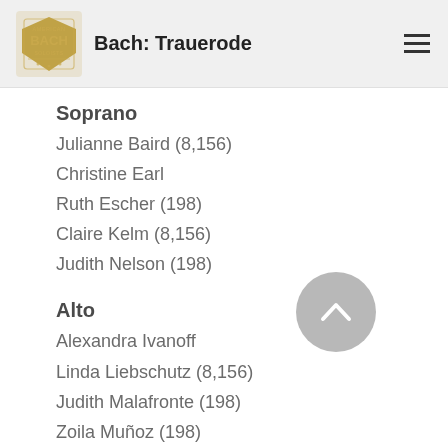Bach: Trauerode
Soprano
Julianne Baird (8,156)
Christine Earl
Ruth Escher (198)
Claire Kelm (8,156)
Judith Nelson (198)
Alto
Alexandra Ivanoff
Linda Liebschutz (8,156)
Judith Malafronte (198)
Zoila Muñoz (198)
Steven Rickards (8,156)
Tenor